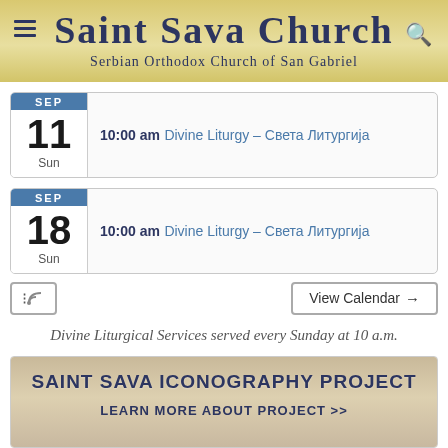Saint Sava Church — Serbian Orthodox Church of San Gabriel
SEP 11 Sun — 10:00 am Divine Liturgy – Света Литургија
SEP 18 Sun — 10:00 am Divine Liturgy – Света Литургија
View Calendar →
Divine Liturgical Services served every Sunday at 10 a.m.
SAINT SAVA ICONOGRAPHY PROJECT
LEARN MORE ABOUT PROJECT >>
Donate with PayPal page >>